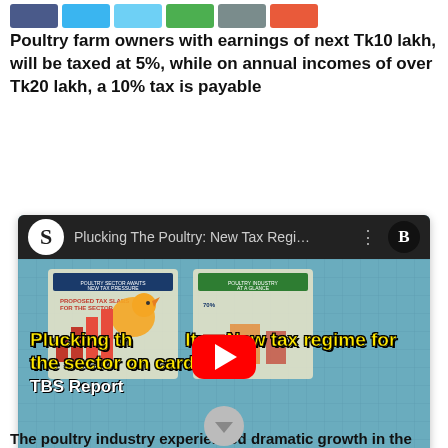Poultry farm owners with earnings of next Tk10 lakh, will be taxed at 5%, while on annual incomes of over Tk20 lakh, a 10% tax is payable
[Figure (screenshot): YouTube video thumbnail showing 'Plucking The Poultry: New Tax Regi...' with TBS branding, a play button, and overlay text 'Plucking the Poultry: New tax regime for the sector on cards TBS Report']
The poultry industry experienced dramatic growth in the